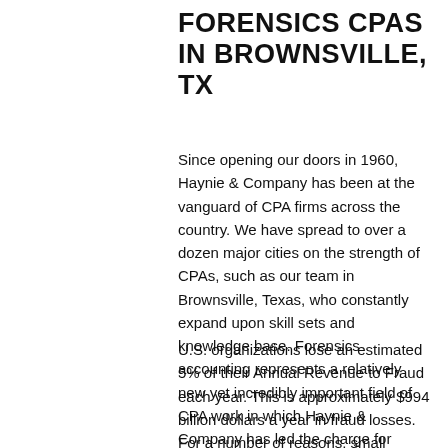FORENSICS CPAS IN BROWNSVILLE, TX
Since opening our doors in 1960, Haynie & Company has been at the vanguard of CPA firms across the country. We have spread to over a dozen major cities on the strength of CPAs, such as our team in Brownsville, Texas, who constantly expand upon skill sets and knowledge base. Forensics accounting represents a relatively new yet incredibly important field of CPA work in which Haynie & Company has led the charge for decades.
U.S. organizations lose an estimated 5% of their Annual Revenue to Fraud each year. This is approximately $994 billion dollars a year in fraud losses. For a number of reasons, small businesses and organizations have considerably greater vulnerability to occupational fraud because of lower quality